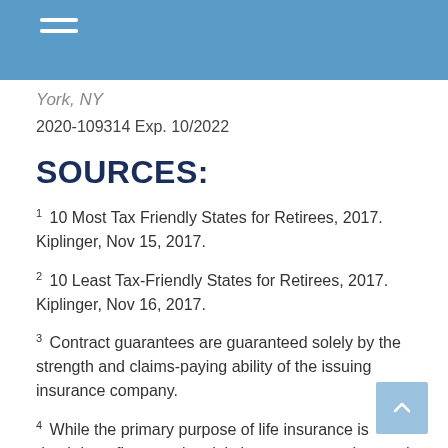York, NY
2020-109314 Exp. 10/2022
SOURCES:
1 10 Most Tax Friendly States for Retirees, 2017. Kiplinger, Nov 15, 2017.
2 10 Least Tax-Friendly States for Retirees, 2017. Kiplinger, Nov 16, 2017.
3 Contract guarantees are guaranteed solely by the strength and claims-paying ability of the issuing insurance company.
4 While the primary purpose of life insurance is death benefit protection, it is important to understand the